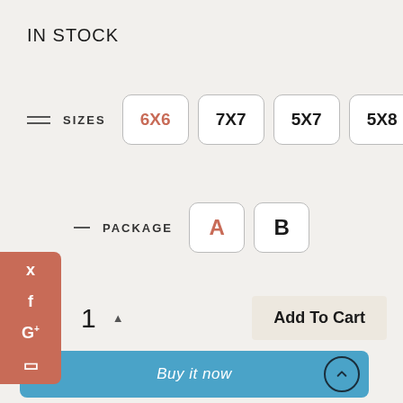IN STOCK
SIZES: 6X6 (selected), 7X7, 5X7, 5X8
PACKAGE: A (selected), B
1 ▲
Add To Cart
Buy it now
Camp Birthday Invitation
ADD TO CART